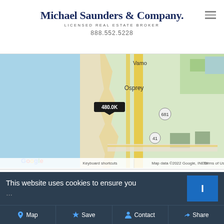Michael Saunders & Company. LICENSED REAL ESTATE BROKER 888.552.5228
[Figure (map): Google Maps screenshot showing coastal area near Osprey, Florida with highway 681 and 41 visible. A price marker reading 480.0K is shown on the map. Google branding and map attribution visible at bottom.]
This website uses cookies to ensure you
Map  Save  Contact  Share